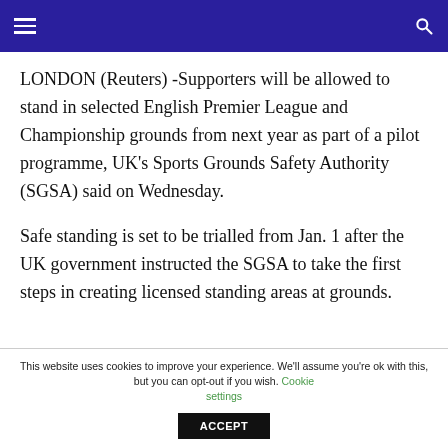Navigation bar with hamburger menu and search icon
LONDON (Reuters) -Supporters will be allowed to stand in selected English Premier League and Championship grounds from next year as part of a pilot programme, UK's Sports Grounds Safety Authority (SGSA) said on Wednesday.
Safe standing is set to be trialled from Jan. 1 after the UK government instructed the SGSA to take the first steps in creating licensed standing areas at grounds.
This website uses cookies to improve your experience. We'll assume you're ok with this, but you can opt-out if you wish. Cookie settings ACCEPT